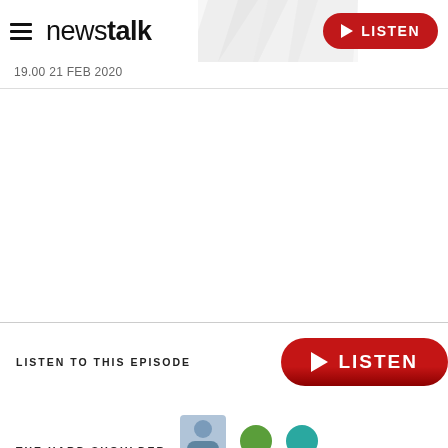newstalk — LISTEN
19.00 21 FEB 2020
LISTEN TO THIS EPISODE
THE HARD SHOULDER